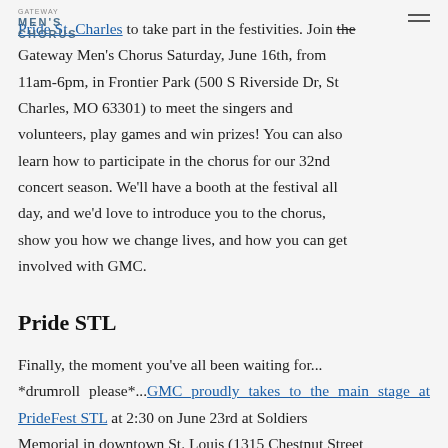Gateway Men's Chorus
Pride St. Charles to take part in the festivities. Join the Gateway Men's Chorus Saturday, June 16th, from 11am-6pm, in Frontier Park (500 S Riverside Dr, St Charles, MO 63301) to meet the singers and volunteers, play games and win prizes! You can also learn how to participate in the chorus for our 32nd concert season. We'll have a booth at the festival all day, and we'd love to introduce you to the chorus, show you how we change lives, and how you can get involved with GMC.
Pride STL
Finally, the moment you've all been waiting for... *drumroll please*...GMC proudly takes to the main stage at PrideFest STL at 2:30 on June 23rd at Soldiers Memorial in downtown St. Louis (1315 Chestnut Street